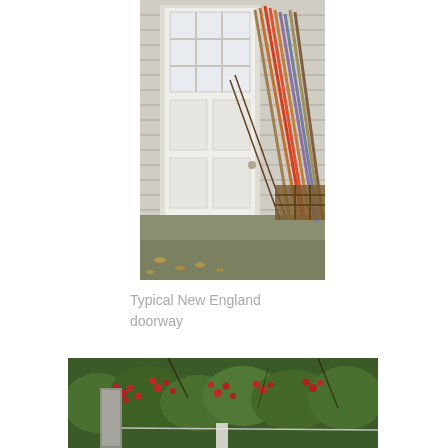[Figure (photo): A white house door with small glass panes at the top, with a collection of old wooden skis and poles leaning against the side of the house, on stone steps with fallen autumn leaves.]
Typical New England doorway
[Figure (photo): Outdoor scene showing dense green foliage and shrubs with red berries, partially visible fence post and wire in the foreground.]